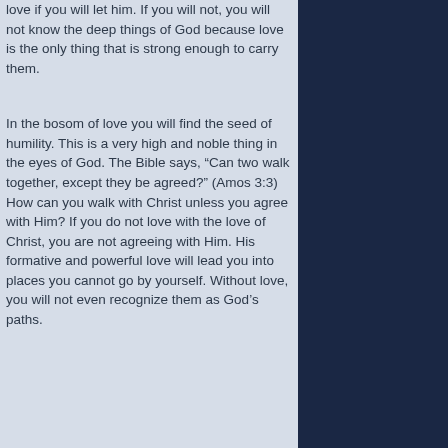love if you will let him. If you will not, you will not know the deep things of God because love is the only thing that is strong enough to carry them.
In the bosom of love you will find the seed of humility. This is a very high and noble thing in the eyes of God. The Bible says, “Can two walk together, except they be agreed?” (Amos 3:3) How can you walk with Christ unless you agree with Him? If you do not love with the love of Christ, you are not agreeing with Him. His formative and powerful love will lead you into places you cannot go by yourself. Without love, you will not even recognize them as God’s paths.